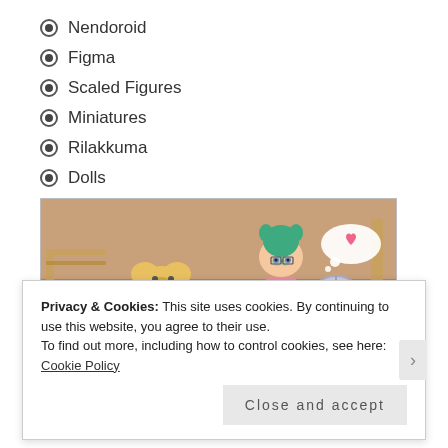Nendoroid
Figma
Scaled Figures
Miniatures
Rilakkuma
Dolls
[Figure (photo): A green-haired anime figure (Nendoroid style) sitting at a miniature desk with a small laptop, a fan, and a teddy bear nearby, in a cozy miniature room setting.]
Privacy & Cookies: This site uses cookies. By continuing to use this website, you agree to their use.
To find out more, including how to control cookies, see here: Cookie Policy
Close and accept